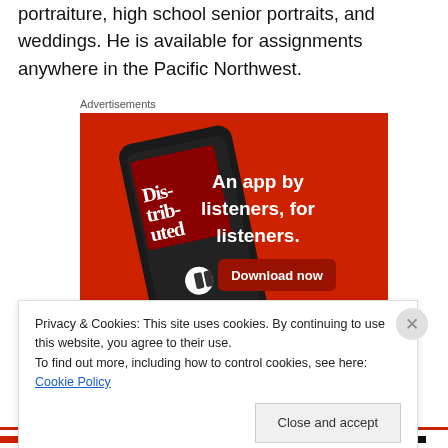portraiture, high school senior portraits, and weddings. He is available for assignments anywhere in the Pacific Northwest.
Advertisements
[Figure (photo): Advertisement for a podcast app showing a smartphone with 'Distributed' podcast displayed. Red background with white bold text: 'An app by listeners, for listeners.' and a dark red 'Download now' button.]
Privacy & Cookies: This site uses cookies. By continuing to use this website, you agree to their use.
To find out more, including how to control cookies, see here: Cookie Policy